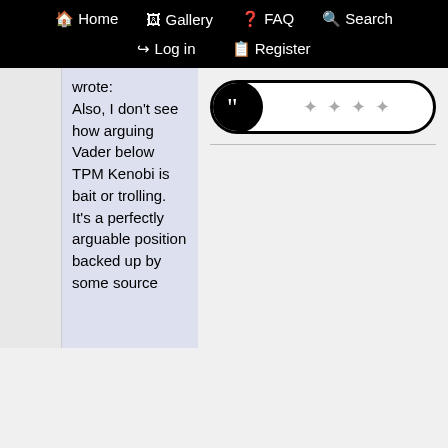Home  Gallery  FAQ  Search  Log in  Register
wrote: Also, I don't see how arguing Vader below TPM Kenobi is bait or trolling. It's a perfectly arguable position backed up by some source
[Figure (illustration): A rating widget showing a circular dark button with a quotation mark icon on the left, and a pill-shaped bar with four diamond/sparkle symbols inside]